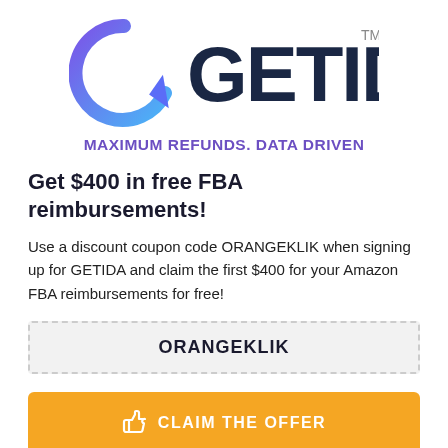[Figure (logo): GETIDA logo with colorful G icon (gradient blue-purple left arrow) and dark blue GETIDA text with TM superscript]
MAXIMUM REFUNDS. DATA DRIVEN
Get $400 in free FBA reimbursements!
Use a discount coupon code ORANGEKLIK when signing up for GETIDA and claim the first $400 for your Amazon FBA reimbursements for free!
ORANGEKLIK
CLAIM THE OFFER